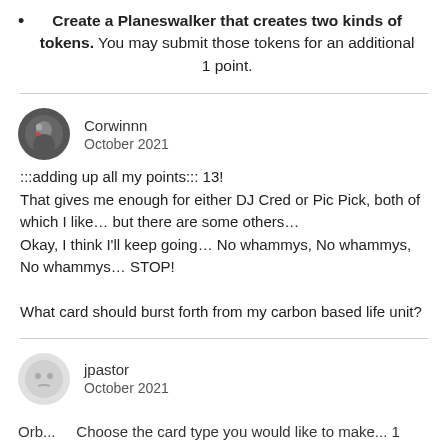Create a Planeswalker that creates two kinds of tokens. You may submit those tokens for an additional 1 point.
Corwinnn
October 2021
:::adding up all my points::: 13!
That gives me enough for either DJ Cred or Pic Pick, both of which I like… but there are some others…
Okay, I think I'll keep going… No whammys, No whammys, No whammys… STOP!

What card should burst forth from my carbon based life unit?
jpastor
October 2021
Orb...    Choose the card type you would like to make... 1